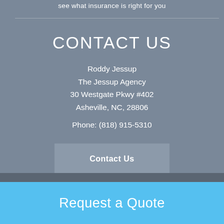see what insurance is right for you
CONTACT US
Roddy Jessup
The Jessup Agency
30 Westgate Pkwy #402
Asheville, NC, 28806
Phone: (818) 915-5310
Contact Us
Request a Quote